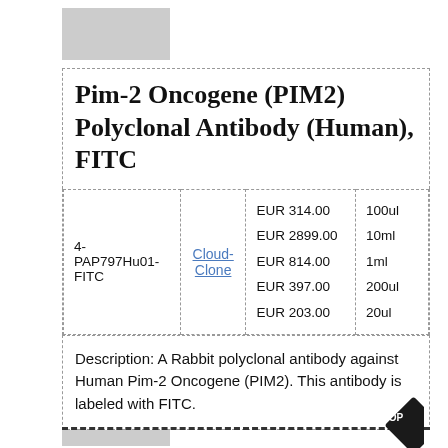Pim-2 Oncogene (PIM2) Polyclonal Antibody (Human), FITC
|  |  | Price | Size |
| --- | --- | --- | --- |
| 4-PAP797Hu01-FITC | Cloud-Clone | EUR 314.00
EUR 2899.00
EUR 814.00
EUR 397.00
EUR 203.00 | 100ul
10ml
1ml
200ul
20ul |
Description: A Rabbit polyclonal antibody against Human Pim-2 Oncogene (PIM2). This antibody is labeled with FITC.